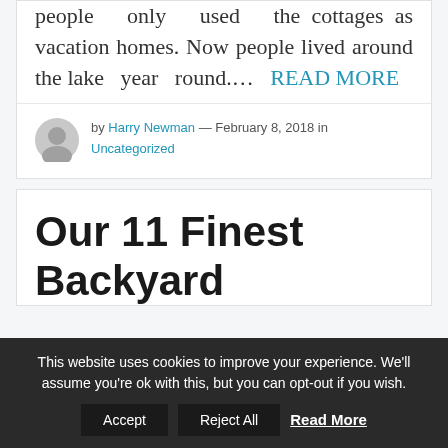people only used the cottages as vacation homes. Now people lived around the lake year round.... READ MORE
by Harry Newman — February 8, 2018 in Uncategorized
Our 11 Finest Backyard
This website uses cookies to improve your experience. We'll assume you're ok with this, but you can opt-out if you wish.